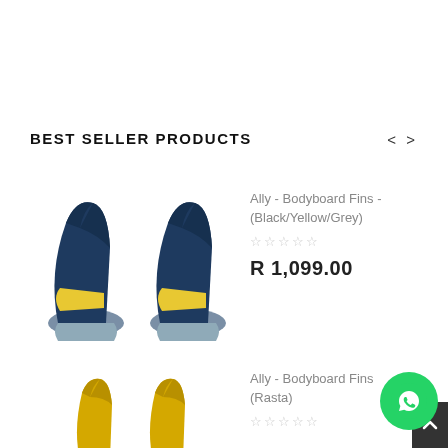BEST SELLER PRODUCTS
[Figure (photo): Pair of Ally Bodyboard Fins in Black/Yellow/Grey colorway, shown from the back]
Ally - Bodyboard Fins - (Black/Yellow/Grey)
☆☆☆☆☆
R 1,099.00
[Figure (photo): Pair of Ally Bodyboard Fins in Rasta colorway, shown from the back, yellow/green]
Ally - Bodyboard Fins (Rasta)
☆☆☆☆☆
[Figure (other): WhatsApp contact button (green circle with phone icon)]
[Figure (other): Scroll to top button (dark grey square with up arrow)]